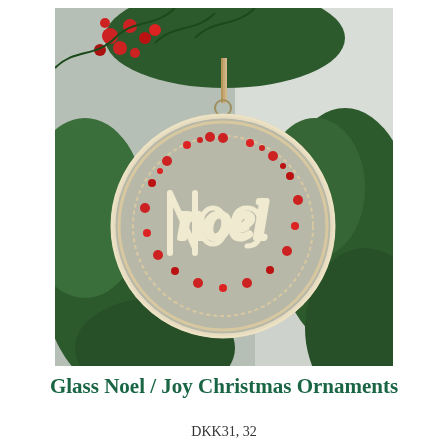[Figure (photo): A decorative glass Christmas ornament hanging on a pine Christmas tree. The round ornament features burlap fabric with the word 'Noel' in cream rope lettering, red berry embellishments arranged in a wreath pattern, and is hung with a twine/burlap ribbon. Red holly berries visible on a pine branch in the upper left corner.]
Glass Noel / Joy Christmas Ornaments
DKK31, 32